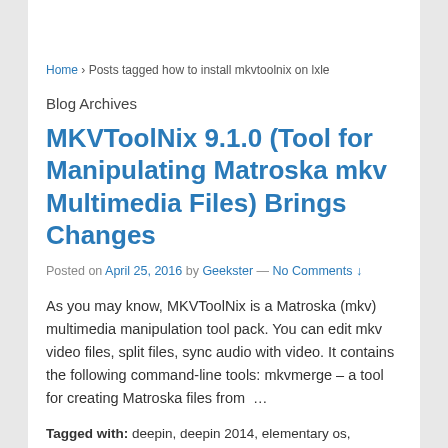Home › Posts tagged how to install mkvtoolnix on lxle
Blog Archives
MKVToolNix 9.1.0 (Tool for Manipulating Matroska mkv Multimedia Files) Brings Changes
Posted on April 25, 2016 by Geekster — No Comments ↓
As you may know, MKVToolNix is a Matroska (mkv) multimedia manipulation tool pack. You can edit mkv video files, split files, sync audio with video. It contains the following command-line tools: mkvmerge – a tool for creating Matroska files from  …
Tagged with: deepin, deepin 2014, elementary os, elementary os